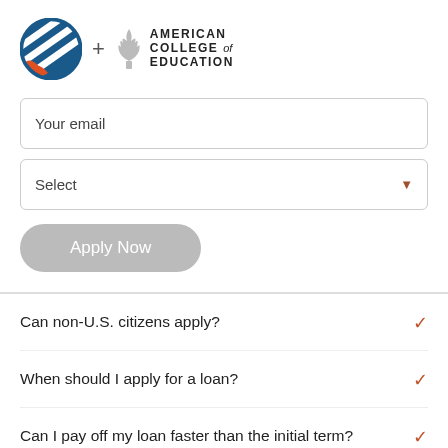[Figure (logo): Logo with circular icon plus American College of Education logo]
Your email
Select
Apply Now
Can non-U.S. citizens apply?
When should I apply for a loan?
Can I pay off my loan faster than the initial term?
What's the difference between fixed rates and